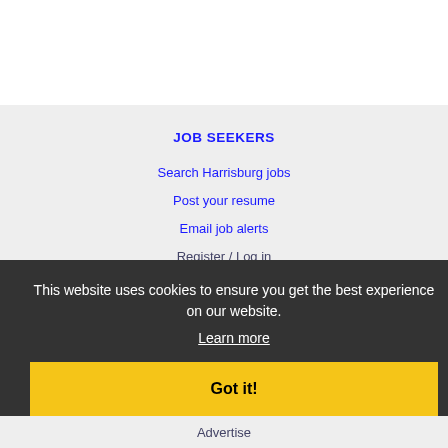JOB SEEKERS
Search Harrisburg jobs
Post your resume
Email job alerts
Register / Log in
EMPLOYERS
Post jobs
Search resumes
Email resume alerts
Advertise
This website uses cookies to ensure you get the best experience on our website.
Learn more
Got it!